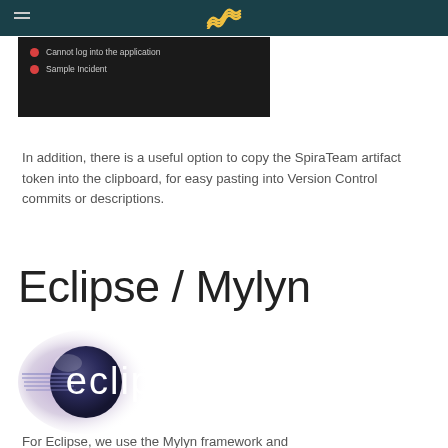[Figure (screenshot): Dark UI screenshot showing two list items with red bullet dots: 'Cannot log into the application' and 'Sample Incident']
In addition, there is a useful option to copy the SpiraTeam artifact token into the clipboard, for easy pasting into Version Control commits or descriptions.
Eclipse / Mylyn
[Figure (logo): Eclipse IDE logo: dark purple/blue sphere with purple glow and horizontal lines, white text 'eclipse']
For Eclipse, we use the Mylyn framework and